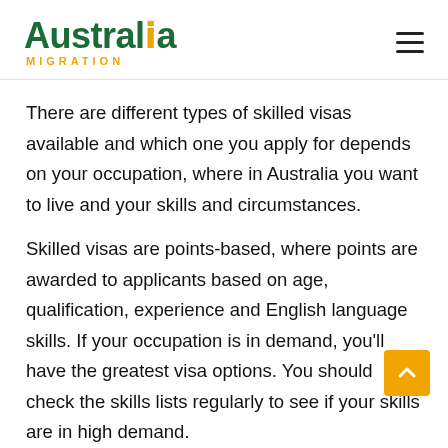Australia Migration
There are different types of skilled visas available and which one you apply for depends on your occupation, where in Australia you want to live and your skills and circumstances.
Skilled visas are points-based, where points are awarded to applicants based on age, qualification, experience and English language skills. If your occupation is in demand, you'll have the greatest visa options. You should check the skills lists regularly to see if your skills are in high demand.
Skilled Independent visa (subclass